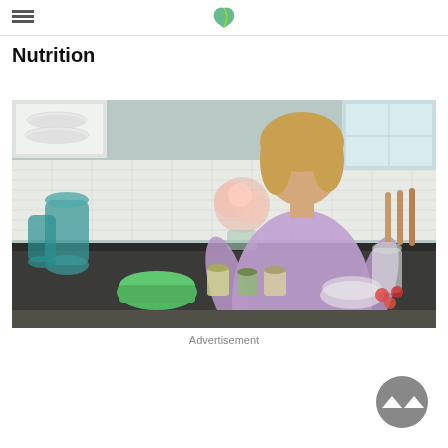Nutrition (website header with logo)
Nutrition
[Figure (photo): A woman with blonde hair wearing a purple floral dress stands in a bright white kitchen behind a counter with jars of fermented foods, a green mixing bowl, and a glass bowl. The kitchen has white subway tile backsplash, open shelves with dishes, large teal glass jugs, flowers, and wooden utensils.]
Advertisement